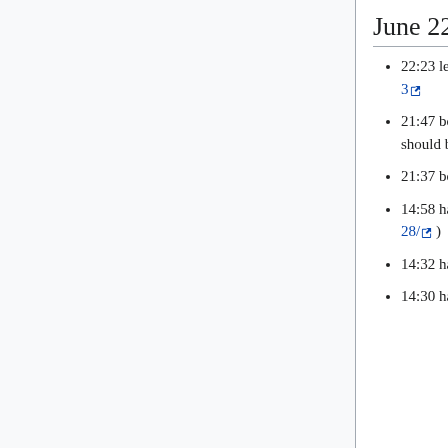June 22
22:23 legoktm: deploying https://gerrit.wikimedia.org/r/219603
21:47 bd808: scap emitting soft failures due to missing python-netifaces on deployment-videoscaler01; should be fixed by a current puppet run
21:37 bd808: Updated scap to 81b7c14 (Move dsh group file names to config)
14:58 hashar: disabled sshd MAC/KEX hardening on beta (was https://gerrit.wikimedia.org/r/#/c/219828/ )
14:32 hashar: restarting Jenkins
14:30 hashar: Reenable sshd MAC/KEX hardening on beta by